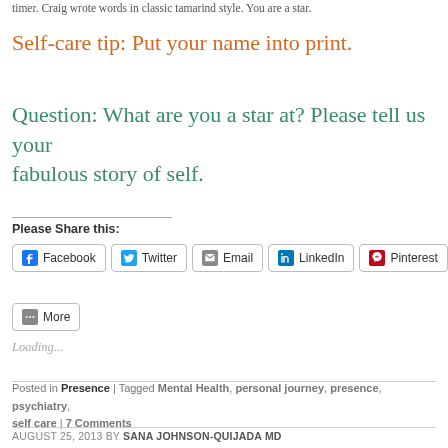timer.  Craig wrote words in classic tamarind style.  You are a star.
Self-care tip:  Put your name into print.
Question:  What are you a star at?  Please tell us your fabulous story of self.
Please Share this:
Facebook  Twitter  Email  LinkedIn  Pinterest  More
Loading...
Posted in Presence | Tagged Mental Health, personal journey, presence, psychiatry, self care | 7 Comments
AUGUST 25, 2013 BY SANA JOHNSON-QUIJADA MD